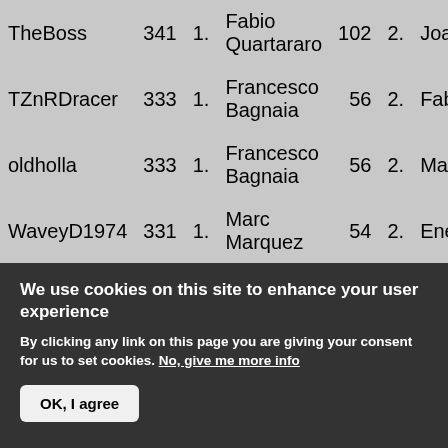| User | Pts | # | Driver 1 | Pts2 | # | Driver 2 |
| --- | --- | --- | --- | --- | --- | --- |
| TheBoss | 341 | 1. | Fabio Quartararo | 102 | 2. | Joa… |
| TZnRDracer | 333 | 1. | Francesco Bagnaia | 56 | 2. | Fab… |
| oldholla | 333 | 1. | Francesco Bagnaia | 56 | 2. | Mar… |
| WaveyD1974 | 331 | 1. | Marc Marquez | 54 | 2. | Ene… |
| WW | 330 | 1. | Fabio Quartararo | 102 | 2. | Fra… Bag… |
| Highside Specialist | 330 | 1. | Francesco Bagnaia | 56 | 2. | Mar… |
We use cookies on this site to enhance your user experience
By clicking any link on this page you are giving your consent for us to set cookies. No, give me more info
OK, I agree